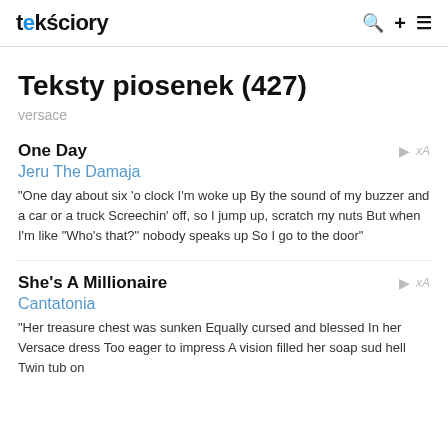tekściory
Teksty piosenek (427)
versace
One Day
Jeru The Damaja
"One day about six 'o clock I'm woke up By the sound of my buzzer and a car or a truck Screechin' off, so I jump up, scratch my nuts But when I'm like "Who's that?" nobody speaks up So I go to the door"
She's A Millionaire
Cantatonia
"Her treasure chest was sunken Equally cursed and blessed In her Versace dress Too eager to impress A vision filled her soap sud hell Twin tub on